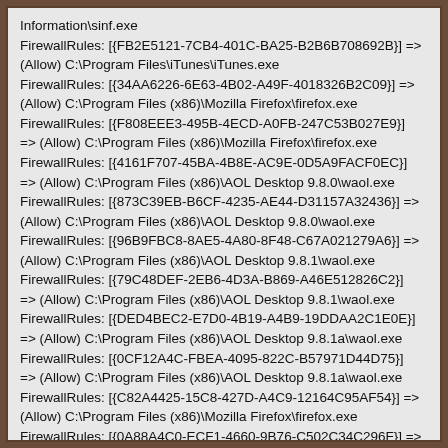Information\sinf.exe
FirewallRules: [{FB2E5121-7CB4-401C-BA25-B2B6B708692B}] => (Allow) C:\Program Files\iTunes\iTunes.exe
FirewallRules: [{34AA6226-6E63-4B02-A49F-4018326B2C09}] => (Allow) C:\Program Files (x86)\Mozilla Firefox\firefox.exe
FirewallRules: [{F808EEE3-495B-4ECD-A0FB-247C53B027E9}] => (Allow) C:\Program Files (x86)\Mozilla Firefox\firefox.exe
FirewallRules: [{4161F707-45BA-4B8E-AC9E-0D5A9FACF0EC}] => (Allow) C:\Program Files (x86)\AOL Desktop 9.8.0\waol.exe
FirewallRules: [{873C39EB-B6CF-4235-AE44-D31157A32436}] => (Allow) C:\Program Files (x86)\AOL Desktop 9.8.0\waol.exe
FirewallRules: [{96B9FBC8-8AE5-4A80-8F48-C67A021279A6}] => (Allow) C:\Program Files (x86)\AOL Desktop 9.8.1\waol.exe
FirewallRules: [{79C48DEF-2EB6-4D3A-B869-A46E512826C2}] => (Allow) C:\Program Files (x86)\AOL Desktop 9.8.1\waol.exe
FirewallRules: [{DED4BEC2-E7D0-4B19-A4B9-19DDAA2C1E0E}] => (Allow) C:\Program Files (x86)\AOL Desktop 9.8.1a\waol.exe
FirewallRules: [{0CF12A4C-FBEA-4095-822C-B57971D44D75}] => (Allow) C:\Program Files (x86)\AOL Desktop 9.8.1a\waol.exe
FirewallRules: [{C82A4425-15C8-427D-A4C9-12164C95AF54}] => (Allow) C:\Program Files (x86)\Mozilla Firefox\firefox.exe
FirewallRules: [{0A88A4C0-ECF1-4660-9B76-C502C34C296F}] => (Allow) C:\Program Files (x86)\Mozilla Firefox\firefox.exe